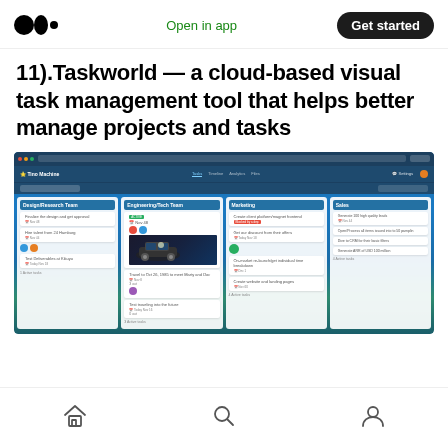Medium logo | Open in app | Get started
11).Taskworld — a cloud-based visual task management tool that helps better manage projects and tasks
[Figure (screenshot): Screenshot of Taskworld kanban board application showing columns: Design/Research Team, Engineering/Tech Team, Marketing, and Sales with various task cards. Background shows lake and mountain scenery.]
Home | Search | Profile navigation icons